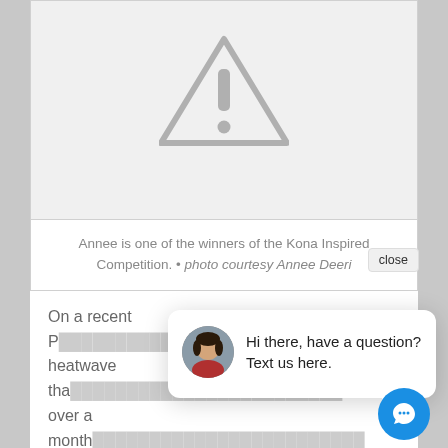[Figure (other): Broken image placeholder with grey warning triangle (exclamation mark in triangle) on light grey background]
Annee is one of the winners of the Kona Inspired Competition. • photo courtesy Annee Deeri…
On a recent P… heatwave tha… over a month… seven hours on her stationary bike trainer. Seven hours.
[Figure (screenshot): Live chat popup bubble with avatar photo of a woman and text: Hi there, have a question? Text us here. Blue circular chat button in corner.]